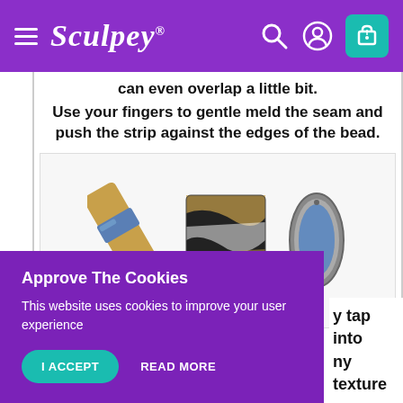Sculpey
can even overlap a little bit.
Use your fingers to gentle meld the seam and push the strip against the edges of the bead.
[Figure (photo): Three polymer clay beads/projects: a tan rectangular bead with a blue clay strip across it, a black and white marbled rectangular piece with brown accents, and an oval silver-framed piece with a blue clay center]
Approve The Cookies
This website uses cookies to improve your user experience
I ACCEPT    READ MORE
y tap into
ny texture